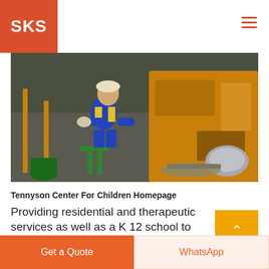SKS
[Figure (photo): Industrial worker in blue coveralls and yellow vest seated at a large orange metalworking/CNC machine in a factory setting, with metal shavings visible]
Tennyson Center For Children Homepage
Providing residential and therapeutic services as well as a K 12 school to Colorado children five to 18
Get a Quote
WhatsApp